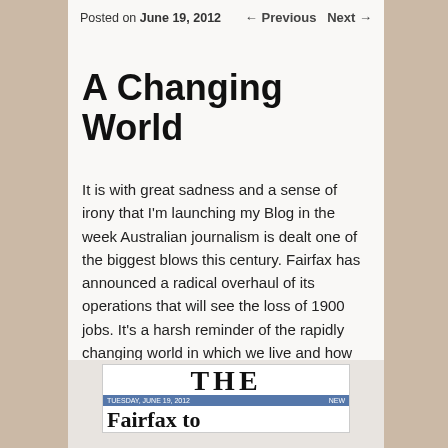Posted on June 19, 2012   ← Previous   Next →
A Changing World
It is with great sadness and a sense of irony that I'm launching my Blog in the week Australian journalism is dealt one of the biggest blows this century. Fairfax has announced a radical overhaul of its operations that will see the loss of 1900 jobs. It's a harsh reminder of the rapidly changing world in which we live and how the repercussions of the Internet continue to take their toll on traditional communication methods – mostly newspapers.
[Figure (photo): A photograph of a newspaper front page showing the masthead 'THE' with date 'TUESDAY, JUNE 19, 2012' and headline beginning 'Fairfax to']